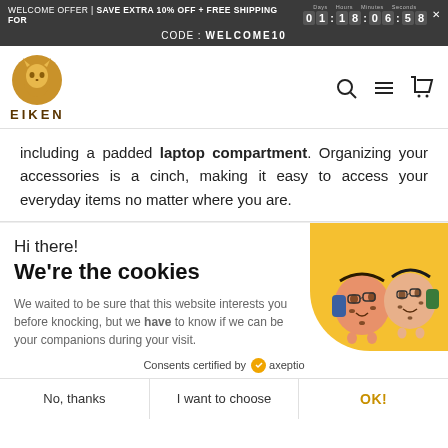WELCOME OFFER | SAVE EXTRA 10% OFF + FREE SHIPPING FOR 01:18:06:58
CODE: WELCOME10
[Figure (logo): Eiken logo - golden circle with cat/fox silhouette and text EIKEN below]
including a padded laptop compartment. Organizing your accessories is a cinch, making it easy to access your everyday items no matter where you are.
Hi there!
We're the cookies
[Figure (illustration): Two cartoon cookie characters with faces, wearing backpacks, standing on a yellow background]
We waited to be sure that this website interests you before knocking, but we have to know if we can be your companions during your visit.
Consents certified by axeptio
No, thanks | I want to choose | OK!